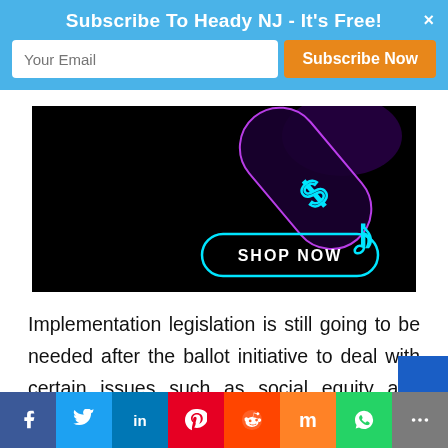Subscribe To Heady NJ - It's Free!
[Figure (screenshot): Dark advertisement banner with neon cyan curved element and 'SHOP NOW' button, on black background with glowing purple/cyan shapes.]
Implementation legislation is still going to be needed after the ballot initiative to deal with certain issues such as social equity and small business provisions. That's even if the commission devises and implements
Social share bar: Facebook, Twitter, LinkedIn, Pinterest, Reddit, Mix, WhatsApp, More